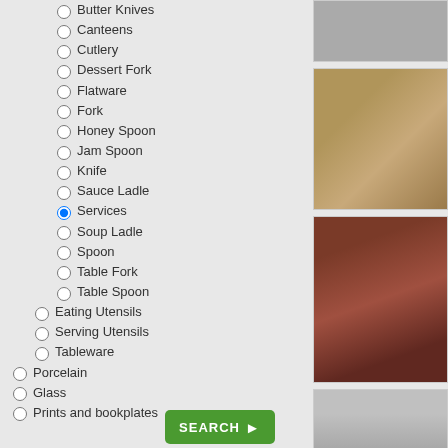Butter Knives
Canteens
Cutlery
Dessert Fork
Flatware
Fork
Honey Spoon
Jam Spoon
Knife
Sauce Ladle
Services (selected)
Soup Ladle
Spoon
Table Fork
Table Spoon
Eating Utensils
Serving Utensils
Tableware
Porcelain
Glass
Prints and bookplates
[Figure (photo): Partial photo visible at top right, cutlery on white background]
[Figure (photo): Silver flatware/cutlery on wooden background]
[Figure (photo): Canteen of cutlery in a wooden box with red interior]
[Figure (photo): Silver spoons on grey background]